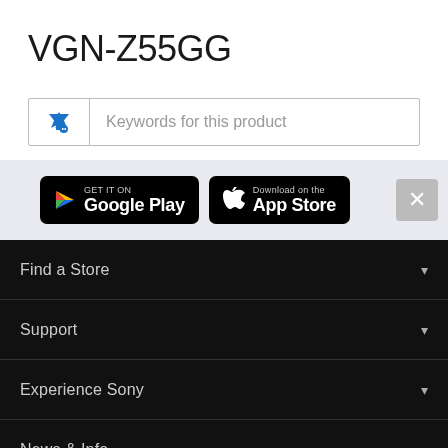VGN-Z55GG
Keywords for this product
[Figure (screenshot): App store download banners showing Google Play and Apple App Store buttons on a light blue-grey background, with a close (X) button on the right]
Find a Store
Support
Experience Sony
News & Info